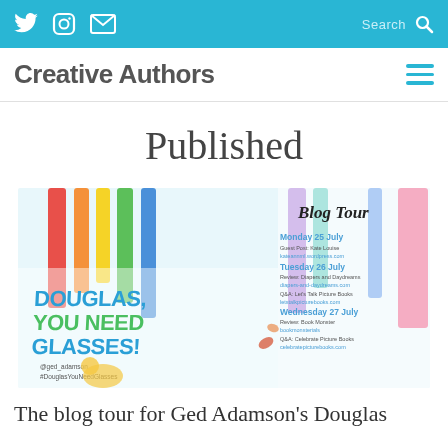Social icons (Twitter, Instagram, Email) | Search
Creative Authors  ≡
Published
[Figure (infographic): Blog Tour banner for 'Douglas, You Need Glasses!' by Ged Adamson. Left side shows book title in bold blue/teal text with illustrated characters (a dog and dinosaur wearing glasses). Right side lists blog tour schedule: Monday 25 July - Guest Post: Kate Louise, kateannml.wordpress.com; Tuesday 26 July - Review: Diapers and Daydreams, diapers-and-daydreams.com; Q&A: Let's Talk Picture Books, letstalkpicturebooks.com; Wednesday 27 July - Review: Book Monster, bookmonsterials; Q&A: Celebrate Picture Books, celebratepicturebooks.com; Thursday 28 July - Guest post: Diapers and Daydreams, diapers-and-daydreams.com; Review: Teaching Book Princess, teachingbookprincess.com; Friday 29 July - Q&A: Rose Mommying, rosemommying.com; Guest post: Bumbles and Fairy Tales, bumblesandfairytales.blogspot.co.uk; Saturday 30 July - Review: Book Passion For Life, bookpassionforlife.blogspot.co.uk. '@ged_adamson #DouglasYouNeedGlasses'. Background shows colorful illustrated trees.]
The blog tour for Ged Adamson's Douglas